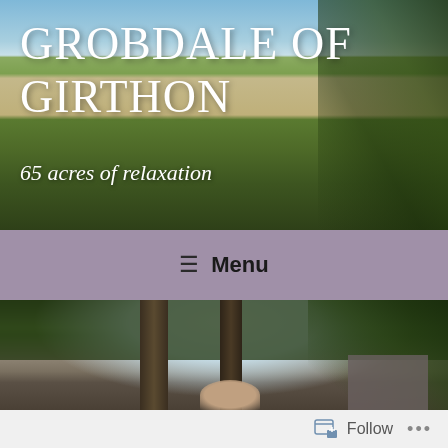[Figure (photo): Landscape photo showing a rural path through green fields and reeds under a blue sky, with trees on the right side. Used as website header background.]
GROBDALE OF GIRTHON
65 acres of relaxation
≡ Menu
[Figure (photo): Outdoor photo showing large trees with dense canopy, a stone wall, and a partial view of a person below the trees.]
Follow ...